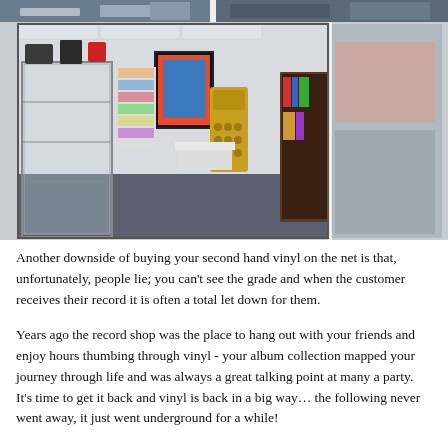[Figure (photo): Top strip showing partial photo images of people, cropped at top of page]
[Figure (photo): Interior of a record/collectibles shop showing glass display cabinets, vintage radios, framed posters, a Dalek prop, bookshelves with records, and various collectibles on blue carpet flooring]
Another downside of buying your second hand vinyl on the net is that, unfortunately, people lie; you can't see the grade and when the customer receives their record it is often a total let down for them.
Years ago the record shop was the place to hang out with your friends and enjoy hours thumbing through vinyl - your album collection mapped your journey through life and was always a great talking point at many a party. It's time to get it back and vinyl is back in a big way… the following never went away, it just went underground for a while!